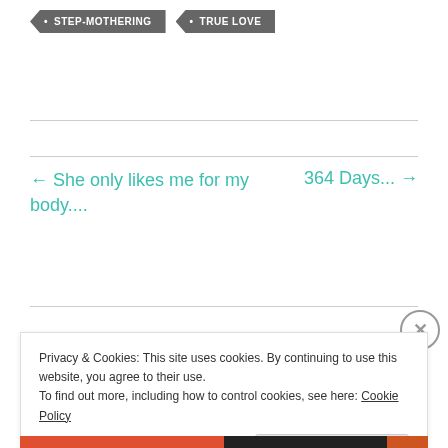• STEP-MOTHERING
• TRUE LOVE
← She only likes me for my body....
364 Days... →
Privacy & Cookies: This site uses cookies. By continuing to use this website, you agree to their use. To find out more, including how to control cookies, see here: Cookie Policy
Close and accept